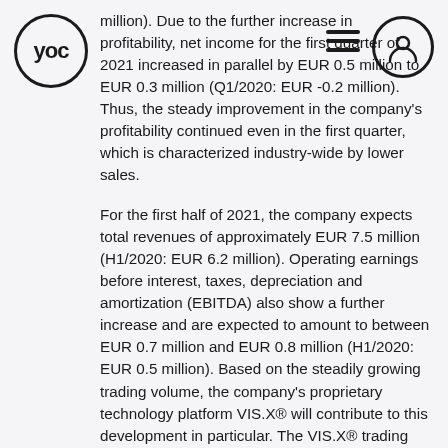YOC
million). Due to the further increase in profitability, net income for the first quarter of 2021 increased in parallel by EUR 0.5 million to EUR 0.3 million (Q1/2020: EUR -0.2 million). Thus, the steady improvement in the company's profitability continued even in the first quarter, which is characterized industry-wide by lower sales.
For the first half of 2021, the company expects total revenues of approximately EUR 7.5 million (H1/2020: EUR 6.2 million). Operating earnings before interest, taxes, depreciation and amortization (EBITDA) also show a further increase and are expected to amount to between EUR 0.7 million and EUR 0.8 million (H1/2020: EUR 0.5 million). Based on the steadily growing trading volume, the company's proprietary technology platform VIS.X® will contribute to this development in particular. The VIS.X® trading platform enables programmatic (automated) trading of YOC's high-impact advertising products and positions the company as a provider of high-quality advertising technology (Ad Technology).